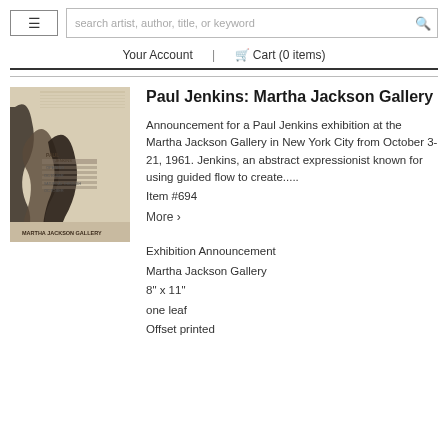search artist, author, title, or keyword | Your Account | Cart (0 items)
Paul Jenkins: Martha Jackson Gallery
[Figure (photo): Sepia-toned exhibition announcement poster for Paul Jenkins at Martha Jackson Gallery, featuring abstract expressionist artwork with dark fluid shapes on a textured background, text reading 'PAUL JENKINS', 'OPENING', 'OCTOBER', 'SATURDAY THROUGH OCTOBER', and 'MARTHA JACKSON GALLERY' at the bottom.]
Announcement for a Paul Jenkins exhibition at the Martha Jackson Gallery in New York City from October 3-21, 1961. Jenkins, an abstract expressionist known for using guided flow to create.....
Item #694
More >
Exhibition Announcement
Martha Jackson Gallery
8" x 11"
one leaf
Offset printed